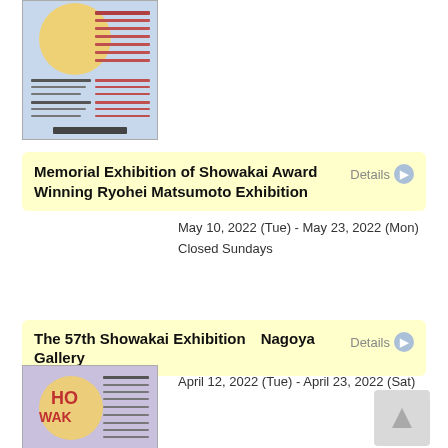[Figure (photo): Exhibition flyer thumbnail with blue/grey background and Japanese text]
Memorial Exhibition of Showakai Award Winning Ryohei Matsumoto Exhibition
Details
May 10, 2022 (Tue) - May 23, 2022 (Mon)
Closed Sundays
The 57th Showakai Exhibition　Nagoya Gallery
Details
[Figure (photo): Exhibition flyer thumbnail with purple/lavender background and Japanese text]
April 12, 2022 (Tue) - April 23, 2022 (Sat)